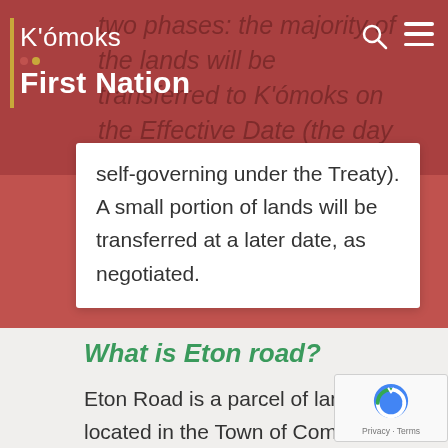K'ómoks First Nation
two phases: the majority of the lands will be transferred to K'ómoks on the Effective Date (the day we become self-governing under the Treaty). A small portion of lands will be transferred at a later date, as negotiated.
What is Eton road?
Eton Road is a parcel of land located in the Town of Comox off of Pritchard Road, near Highland Secondary School. This parcel has